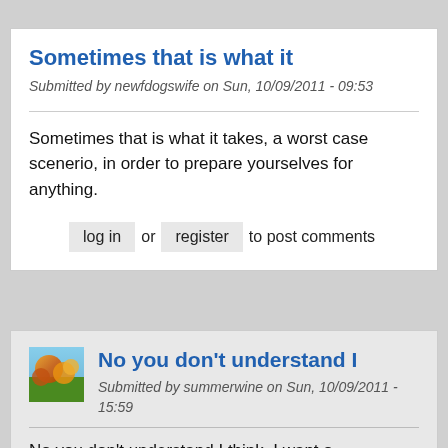Sometimes that is what it
Submitted by newfdogswife on Sun, 10/09/2011 - 09:53
Sometimes that is what it takes, a worst case scenerio, in order to prepare yourselves for anything.
log in or register to post comments
No you don't understand I
Submitted by summerwine on Sun, 10/09/2011 - 15:59
No you don't understand I think, I want o